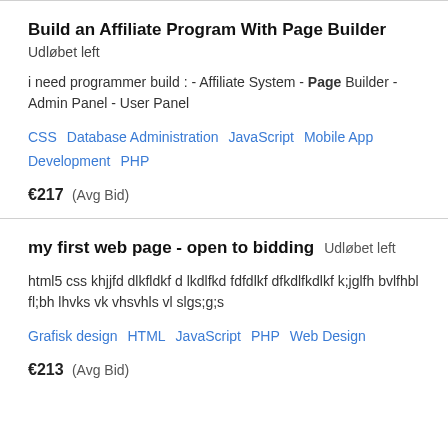Build an Affiliate Program With Page Builder
Udløbet left
i need programmer build : - Affiliate System - Page Builder - Admin Panel - User Panel
CSS   Database Administration   JavaScript   Mobile App Development   PHP
€217  (Avg Bid)
my first web page - open to bidding
Udløbet left
html5 css khjjfd dlkfldkf d lkdlfkd fdfdlkf dfkdlfkdlkf k;jglfh bvlfhbl fl;bh lhvks vk vhsvhls vl slgs;g;s
Grafisk design   HTML   JavaScript   PHP   Web Design
€213  (Avg Bid)